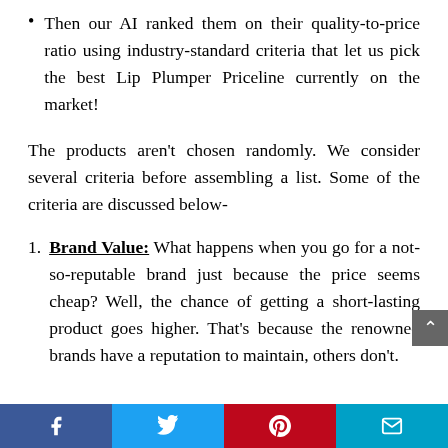Then our AI ranked them on their quality-to-price ratio using industry-standard criteria that let us pick the best Lip Plumper Priceline currently on the market!
The products aren't chosen randomly. We consider several criteria before assembling a list. Some of the criteria are discussed below-
Brand Value: What happens when you go for a not-so-reputable brand just because the price seems cheap? Well, the chance of getting a short-lasting product goes higher. That's because the renowned brands have a reputation to maintain, others don't.
[Facebook] [Twitter] [Pinterest] [Email]